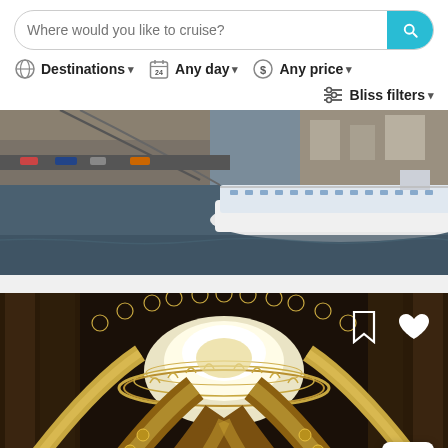[Figure (screenshot): Search bar with placeholder text 'Where would you like to cruise?' and a teal search button with magnifying glass icon]
[Figure (screenshot): Filter bar with Destinations, Any day, Any price, and Bliss filters dropdown options with icons]
[Figure (photo): Aerial view of a bridge over a river with a large white cruise ship docked below]
[Figure (photo): Interior of an ornate basilica with golden dome ceiling viewed from below, with bookmark and heart icons in top right and a scroll-to-top arrow button in bottom right]